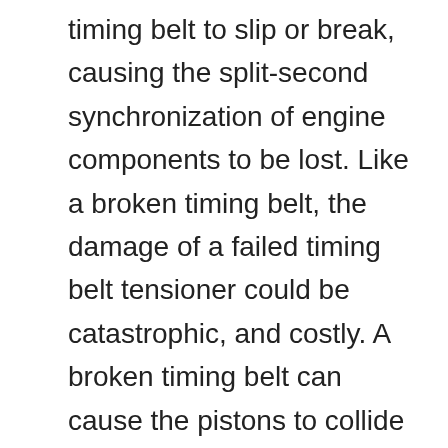timing belt to slip or break, causing the split-second synchronization of engine components to be lost. Like a broken timing belt, the damage of a failed timing belt tensioner could be catastrophic, and costly. A broken timing belt can cause the pistons to collide with the valves, potentially bending or breaking them. Additionally, a broken timing belt could cause damage to the cylinder head or camshaft. While there is not always a